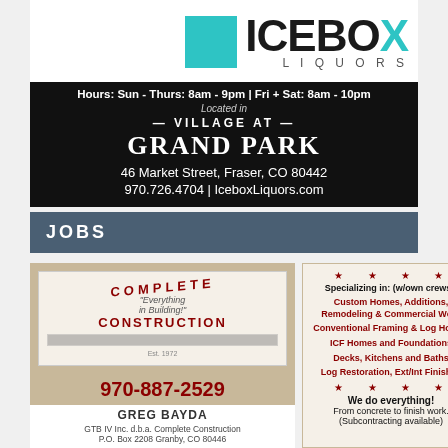[Figure (logo): Icebox Liquors logo with teal square and bold wordmark]
Hours: Sun - Thurs: 8am - 9pm | Fri + Sat: 8am - 10pm
Located in
— VILLAGE AT —
GRAND PARK
46 Market Street, Fraser, CO 80442
970.726.4704 | IceboxLiquors.com
JOBS
[Figure (logo): Complete Construction logo with arched COMPLETE text, Est. 1972]
970-887-2529
GREG BAYDA
GTB IV Inc. d.b.a. Complete Construction
P.O. Box 2208 Granby, CO 80446
★ ★ ★ ★
Specializing in: (w/own crews!)
Custom Homes, Additions, Remodeling & Commercial Work
Conventional Framing & Log Homes
ICF Homes and Foundations
Decks, Kitchens and Baths
Log Restoration, Ext/Int Finishes
★ ★ ★ ★
We do everything!
From concrete to finish work.
(Subcontracting available)